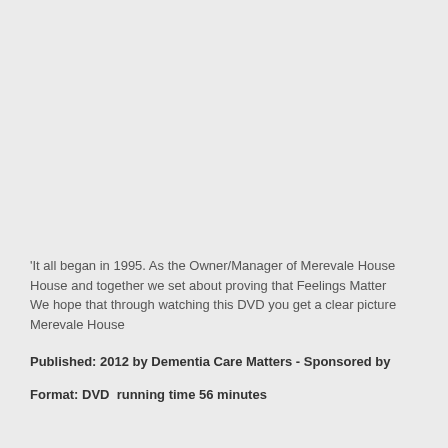'It all began in 1995. As the Owner/Manager of Merevale House and together we set about proving that Feelings Matter We hope that through watching this DVD you get a clear picture Merevale House
Published: 2012 by Dementia Care Matters - Sponsored by
Format: DVD  running time 56 minutes